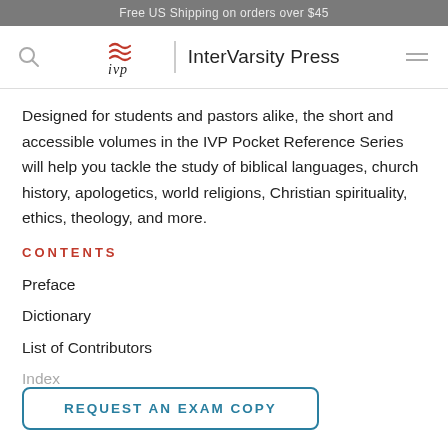Free US Shipping on orders over $45
[Figure (logo): IVP InterVarsity Press logo with search and menu icons in navigation bar]
Designed for students and pastors alike, the short and accessible volumes in the IVP Pocket Reference Series will help you tackle the study of biblical languages, church history, apologetics, world religions, Christian spirituality, ethics, theology, and more.
CONTENTS
Preface
Dictionary
List of Contributors
Index
MORE